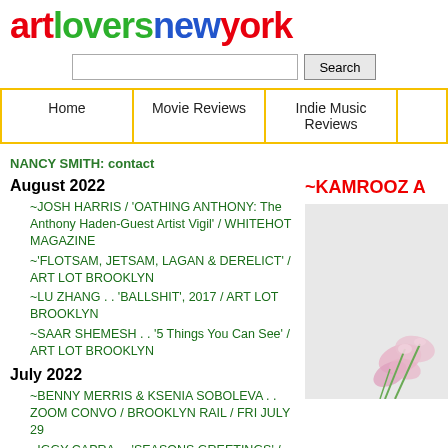artloversnewyork
[Figure (screenshot): Search bar with text input and Search button]
Home | Movie Reviews | Indie Music Reviews
NANCY SMITH: contact
August 2022
~JOSH HARRIS / 'OATHING ANTHONY: The Anthony Haden-Guest Artist Vigil' / WHITEHOT MAGAZINE
~'FLOTSAM, JETSAM, LAGAN & DERELICT' / ART LOT BROOKLYN
~LU ZHANG . . 'BALLSHIT', 2017 / ART LOT BROOKLYN
~SAAR SHEMESH . . '5 Things You Can See' / ART LOT BROOKLYN
July 2022
~BENNY MERRIS & KSENIA SOBOLEVA . . ZOOM CONVO / BROOKLYN RAIL / FRI JULY 29
~IGGY CAPRA . . 'SEASONS GREETINGS' / Et al / SAN FRANCISCO / thru SEPT 3
~'STEAL MY SUNSHINE' . . MERY GATES, BUSHWICK, BROOKLYN / SAT JULY 23
~BENNY MERRIS . . 'flash!' / HEROES / up thru JULY 30 . . now extended thru – SAT AUG 6 !!
~'PAINTING AS IS II' . . NATHALIE KARG / PIX FROM THE OPENING
June 2022
~'PAINTING AS IS II' . . big group show curated by TIM
~KAMROOZ A
[Figure (photo): Flower photo with pink flowers on white/grey background]